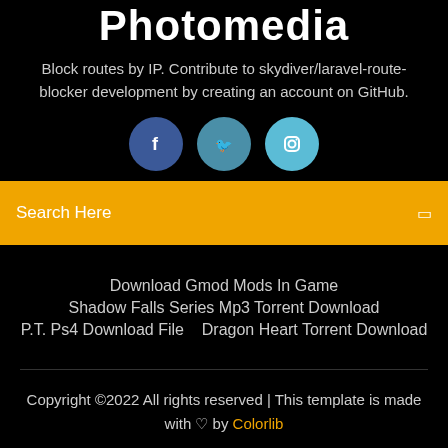Photomedia
Block routes by IP. Contribute to skydiver/laravel-route-blocker development by creating an account on GitHub.
[Figure (illustration): Three social media icons: Facebook (dark blue circle), Twitter (teal circle), Instagram (light blue circle)]
Search Here
Download Gmod Mods In Game
Shadow Falls Series Mp3 Torrent Download
P.T. Ps4 Download File   Dragon Heart Torrent Download
Copyright ©2022 All rights reserved | This template is made with ♡ by Colorlib